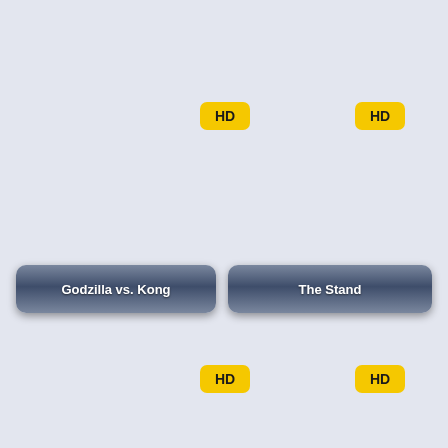[Figure (screenshot): HD badge yellow rounded rectangle top-left area]
[Figure (screenshot): HD badge yellow rounded rectangle top-right area]
Godzilla vs. Kong
The Stand
[Figure (screenshot): HD badge yellow rounded rectangle bottom-left area]
[Figure (screenshot): HD badge yellow rounded rectangle bottom-right area]